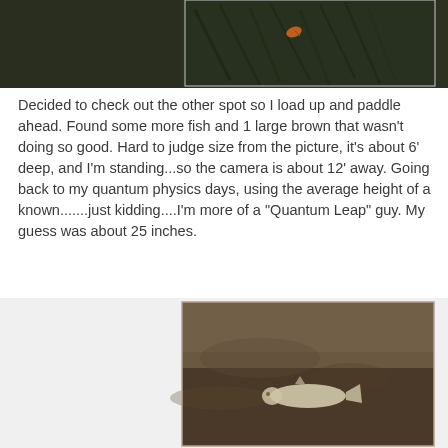[Figure (photo): Partial view of a dark water surface with green underwater vegetation visible, and a small orange leaf floating on the surface. Cropped so only the bottom portion of the photo is visible.]
Decided to check out the other spot so I load up and paddle ahead.  Found some more fish and 1 large brown that wasn't doing so good.  Hard to judge size from the picture, it's about 6' deep, and I'm standing...so the camera is about 12' away.  Going back to my quantum physics days, using the average height of a known.......just kidding....I'm more of a "Quantum Leap" guy.  My guess was about 25 inches.
[Figure (photo): Underwater photo showing a large fish (brown trout) visible beneath murky brownish-gray water. The fish appears pale/light colored against the dark bottom.]